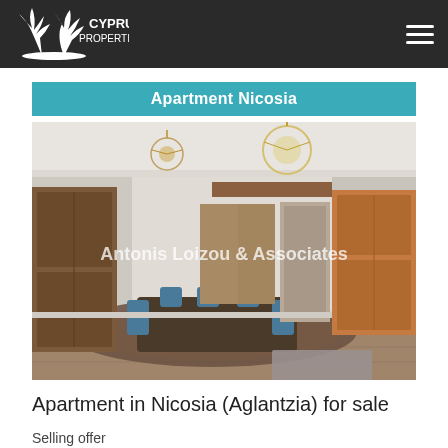Cyprus Properties
Apartment Nicosia
[Figure (photo): Interior photo of an apartment living/dining room in Nicosia. The room features two chandeliers, a dining table with blue chairs, ornate rugs, hardwood parquet flooring, white walls with crown molding, a wooden bookcase/cabinet on the right, and a large wooden wardrobe on the left. Watermark reads 'Antonis Loizou & Associates'.]
Apartment in Nicosia (Aglantzia) for sale
Selling offer